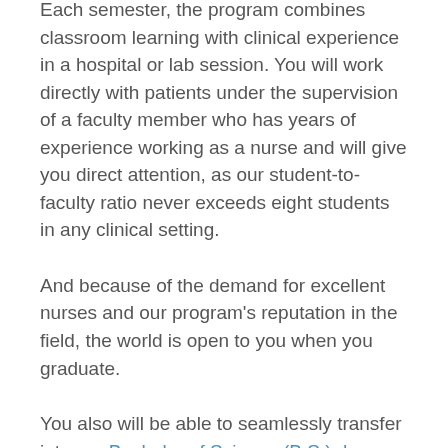Each semester, the program combines classroom learning with clinical experience in a hospital or lab session. You will work directly with patients under the supervision of a faculty member who has years of experience working as a nurse and will give you direct attention, as our student-to-faculty ratio never exceeds eight students in any clinical setting.
And because of the demand for excellent nurses and our program’s reputation in the field, the world is open to you when you graduate.
You also will be able to seamlessly transfer into our Bachelor of Science (B.S.) degree program in nursing to further your knowledge and expertise of the field.